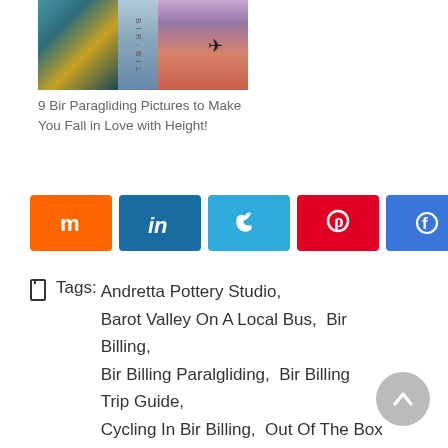[Figure (photo): Thumbnail collage of paragliding images — three segments showing a colorful paraglider, a vertical strip, and a silhouette skydiver against a pink/purple sky]
9 Bir Paragliding Pictures to Make You Fall in Love with Height!
[Figure (infographic): Social share buttons row: Mix (orange), LinkedIn (blue), Twitter (light blue), Pinterest (red), Facebook (blue), with share count of 63 SHARES]
Tags:   Andretta Pottery Studio,  Barot Valley On A Local Bus,  Bir Billing,  Bir Billing Paralgliding,  Bir Billing Trip Guide,  Cycling In Bir Billing,  Out Of The Box Things To Do,  Paragliding Take Off Site,  Places To Visit In Bir Billing,  Watching A Basketball Match,